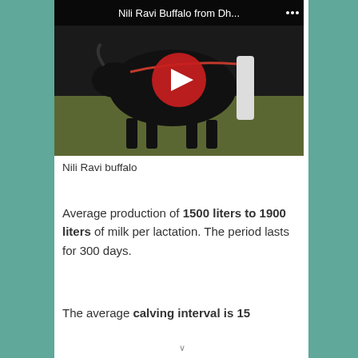[Figure (screenshot): YouTube video thumbnail showing a Nili Ravi buffalo being led by a handler, with the YouTube play button overlay and title 'Nili Ravi Buffalo from Dh...']
Nili Ravi buffalo
Average production of 1500 liters to 1900 liters of milk per lactation. The period lasts for 300 days.
The average calving interval is 15